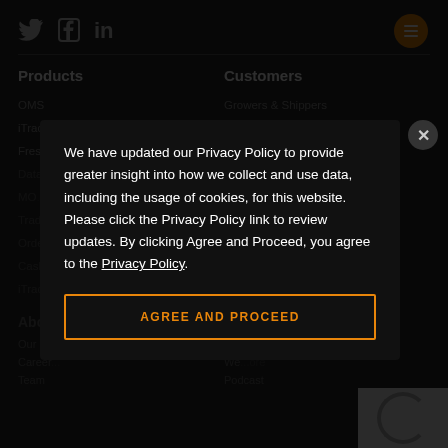[Figure (screenshot): Website footer with dark background showing social media icons (Twitter, Facebook, LinkedIn) and an orange hamburger menu button]
Products
Customers
OMS
iTradeFreight
Fresh Inspection
Data/Spend Management
MO...
Trad...
Orde...
Cashe...
iTrade Blockchain
Growers & Shippers
Manufacturers
Logistics Providers
Distributors
We have updated our Privacy Policy to provide greater insight into how we collect and use data, including the usage of cookies, for this website. Please click the Privacy Policy link to review updates. By clicking Agree and Proceed, you agree to the Privacy Policy.
AGREE AND PROCEED
About Us
Resources
Our ...pany
Career...
Team
ITrade Blog
We...ore
Podcast